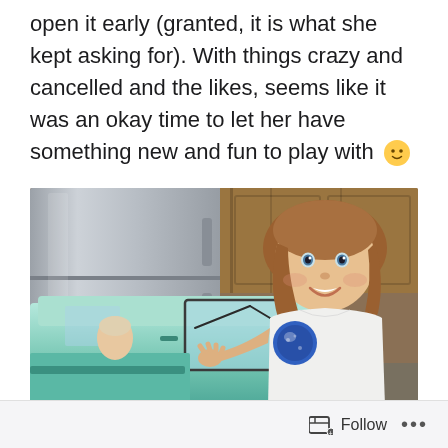open it early (granted, it is what she kept asking for). With things crazy and cancelled and the likes, seems like it was an okay time to let her have something new and fun to play with 🙂
[Figure (photo): A young girl smiling next to a mint/teal colored toy car (resembling a VW bus), standing in front of a stainless steel refrigerator and wood cabinets. She is wearing a white t-shirt with a sequin patch.]
Follow ...